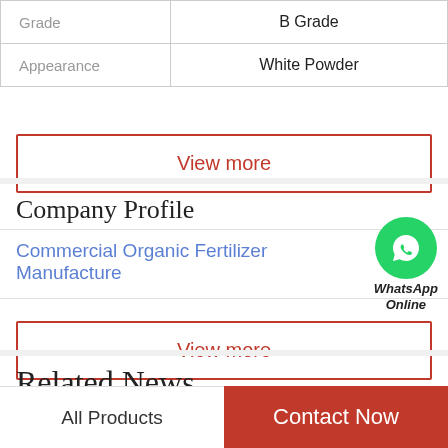| Grade | B Grade |
| Appearance | White Powder |
View more
Company Profile
Commercial Organic Fertilizer Manufacture
[Figure (illustration): WhatsApp Online green phone icon with text 'WhatsApp Online']
View more
Related News
All Products | Contact Now